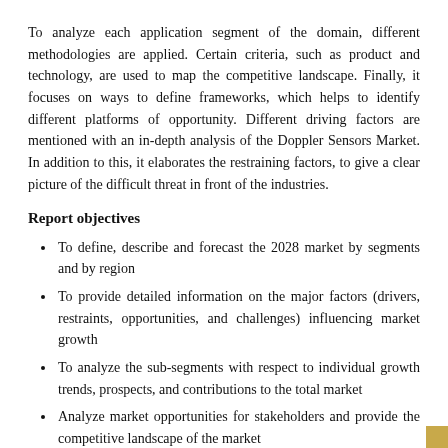To analyze each application segment of the domain, different methodologies are applied. Certain criteria, such as product and technology, are used to map the competitive landscape. Finally, it focuses on ways to define frameworks, which helps to identify different platforms of opportunity. Different driving factors are mentioned with an in-depth analysis of the Doppler Sensors Market. In addition to this, it elaborates the restraining factors, to give a clear picture of the difficult threat in front of the industries.
Report objectives
To define, describe and forecast the 2028 market by segments and by region
To provide detailed information on the major factors (drivers, restraints, opportunities, and challenges) influencing market growth
To analyze the sub-segments with respect to individual growth trends, prospects, and contributions to the total market
Analyze market opportunities for stakeholders and provide the competitive landscape of the market